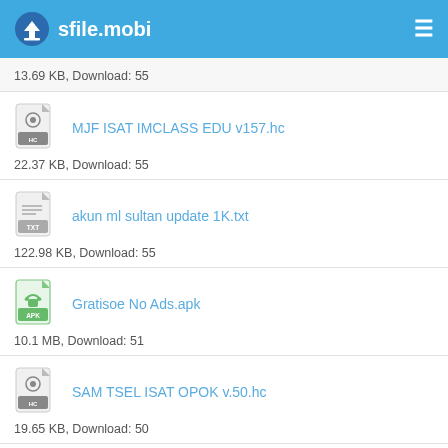sfile.mobi
13.69 KB, Download: 55
MJF ISAT IMCLASS EDU v157.hc
22.37 KB, Download: 55
akun ml sultan update 1K.txt
122.98 KB, Download: 55
Gratisoe No Ads.apk
10.1 MB, Download: 51
SAM TSEL ISAT OPOK v.50.hc
19.65 KB, Download: 50
sultan 1K.txt
122.98 KB, Download: 49
(partial, cut off)